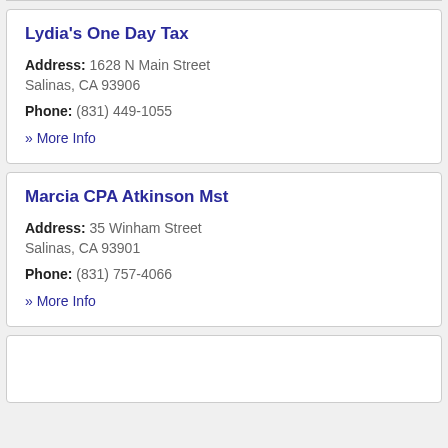Lydia's One Day Tax
Address: 1628 N Main Street
Salinas, CA 93906
Phone: (831) 449-1055
» More Info
Marcia CPA Atkinson Mst
Address: 35 Winham Street
Salinas, CA 93901
Phone: (831) 757-4066
» More Info